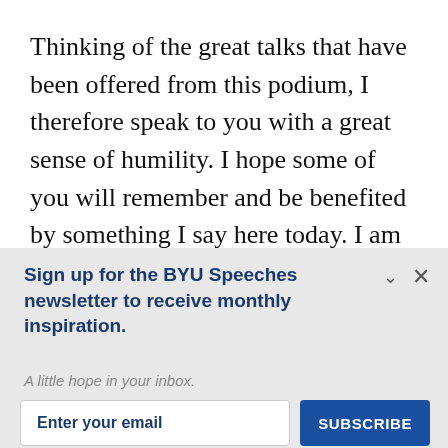Thinking of the great talks that have been offered from this podium, I therefore speak to you with a great sense of humility. I hope some of you will remember and be benefited by something I say here today. I am certain that my message will have special meaning to some of you, but I hope that it will have some
Sign up for the BYU Speeches newsletter to receive monthly inspiration.
A little hope in your inbox.
Enter your email
SUBSCRIBE